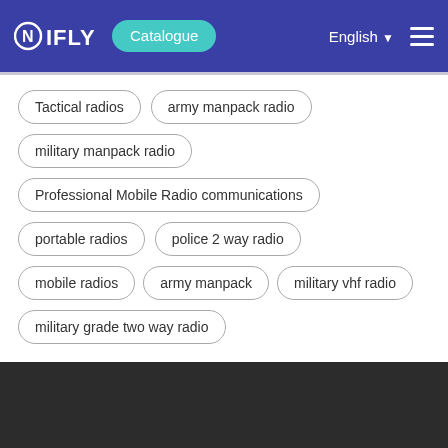NIFLY | Catalogue | English
Tactical radios
army manpack radio
military manpack radio
Professional Mobile Radio communications
portable radios
police 2 way radio
mobile radios
army manpack
military vhf radio
military grade two way radio